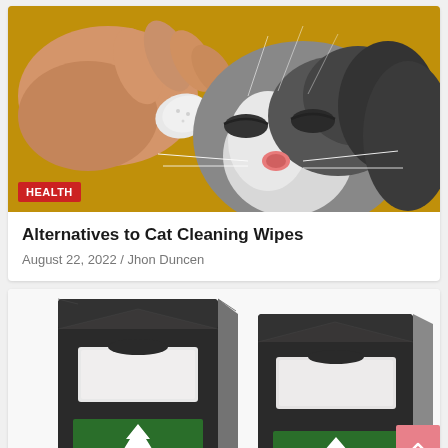[Figure (photo): A hand using a white cloth/wipe to clean the eye area of a black and white kitten against a yellow/ochre background]
HEALTH
Alternatives to Cat Cleaning Wipes
August 22, 2022 / Jhon Duncen
[Figure (photo): Two dark/black boxes of cat cleaning wipes with green label featuring a white tree/cross logo, partially visible on a white background. A pink scroll-to-top button with upward chevron is visible in the bottom right.]